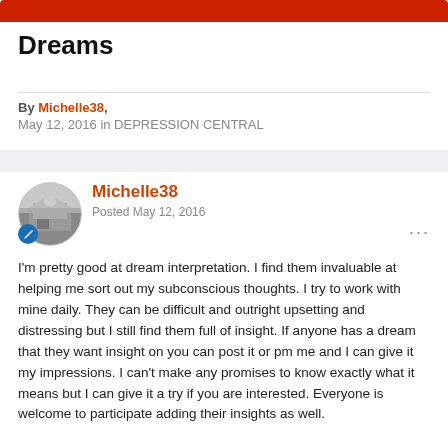Dreams
By Michelle38,
May 12, 2016 in DEPRESSION CENTRAL
Michelle38
Posted May 12, 2016
I'm pretty good at dream interpretation.  I find them invaluable at helping me sort out my subconscious thoughts.  I try to work with mine daily.  They can be difficult and outright upsetting and distressing but I still find them full of insight.  If anyone has a dream that they want insight on you can post it or pm me and I can give it my impressions.  I can't make any promises to know exactly what it means but I can give it a try if you are interested.  Everyone is welcome to participate adding their insights as well.